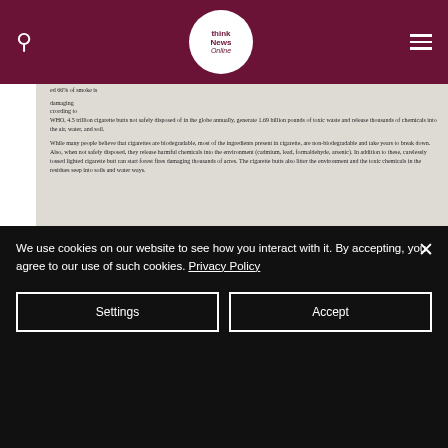[Figure (screenshot): Think News Online website navigation bar with dark red/maroon background, search icon, logo, and hamburger menu]
[Figure (photo): Scanned document from Ministry of Health Ghana showing text about cigarette butts, biodegradability, environmental impact, and contact details]
[Figure (photo): Scanned Ministry of Health Ghana letterhead showing coat of arms, ministry name, and P.O. Box address in Accra]
We use cookies on our website to see how you interact with it. By accepting, you agree to our use of such cookies. Privacy Policy
Settings
Accept